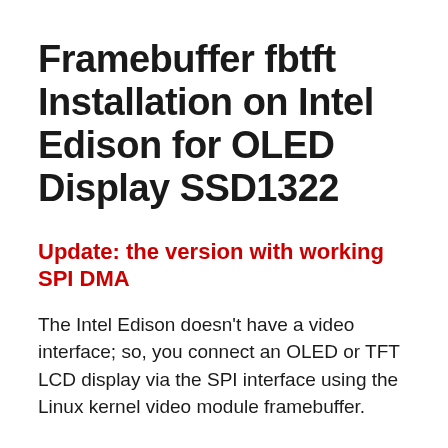Framebuffer fbtft Installation on Intel Edison for OLED Display SSD1322
Update: the version with working SPI DMA
The Intel Edison doesn’t have a video interface; so, you connect an OLED or TFT LCD display via the SPI interface using the Linux kernel video module framebuffer.